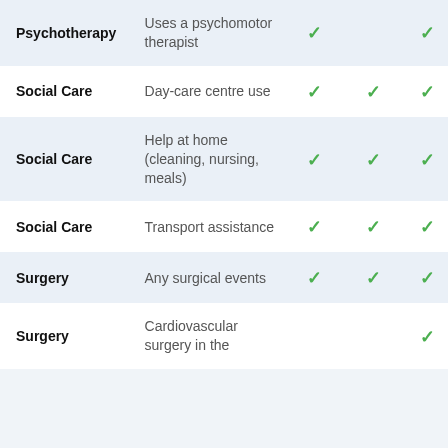| Category | Description | Col1 | Col2 | Col3 |
| --- | --- | --- | --- | --- |
| Psychotherapy | Uses a psychomotor therapist | ✓ |  | ✓ |
| Social Care | Day-care centre use | ✓ | ✓ | ✓ |
| Social Care | Help at home (cleaning, nursing, meals) | ✓ | ✓ | ✓ |
| Social Care | Transport assistance | ✓ | ✓ | ✓ |
| Surgery | Any surgical events | ✓ | ✓ | ✓ |
| Surgery | Cardiovascular surgery in the... |  |  | ✓ |